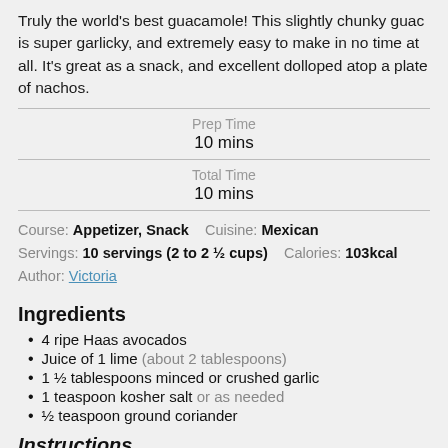Truly the world's best guacamole! This slightly chunky guac is super garlicky, and extremely easy to make in no time at all. It's great as a snack, and excellent dolloped atop a plate of nachos.
Prep Time
10 mins
Total Time
10 mins
Course: Appetizer, Snack   Cuisine: Mexican
Servings: 10 servings (2 to 2 ½ cups)   Calories: 103kcal
Author: Victoria
Ingredients
4 ripe Haas avocados
Juice of 1 lime (about 2 tablespoons)
1 ½ tablespoons minced or crushed garlic
1 teaspoon kosher salt or as needed
½ teaspoon ground coriander
Instructions